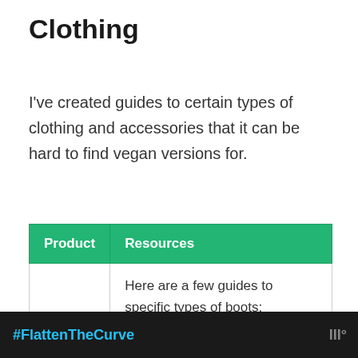Clothing
I've created guides to certain types of clothing and accessories that it can be hard to find vegan versions for.
| Product | Resources |
| --- | --- |
|  | Here are a few guides to specific types of boots: |
#FlattenTheCurve